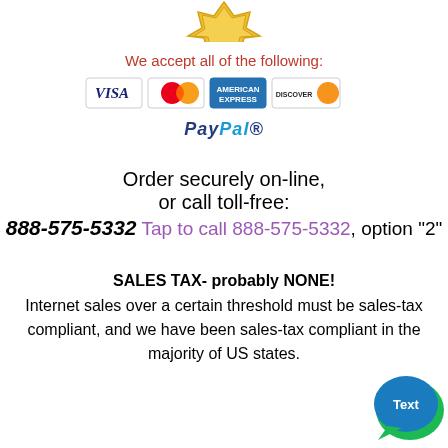[Figure (illustration): Gold badge/seal at the top center, partially visible]
We accept all of the following:
[Figure (illustration): Credit card logos: Visa, Mastercard, Amex, Discover]
[Figure (logo): PayPal logo]
Order securely on-line,
or call toll-free:
888-575-5332 Tap to call 888-575-5332, option "2"
SALES TAX- probably NONE!
Internet sales over a certain threshold must be sales-tax compliant, and we have been sales-tax compliant in the majority of US states.
[Figure (illustration): Chat/text bubble widget in bottom right corner]